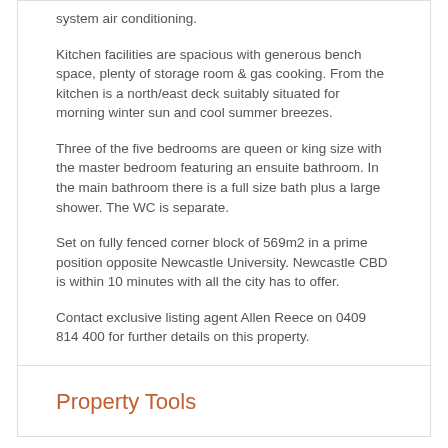system air conditioning.
Kitchen facilities are spacious with generous bench space, plenty of storage room & gas cooking. From the kitchen is a north/east deck suitably situated for morning winter sun and cool summer breezes.
Three of the five bedrooms are queen or king size with the master bedroom featuring an ensuite bathroom. In the main bathroom there is a full size bath plus a large shower. The WC is separate.
Set on fully fenced corner block of 569m2 in a prime position opposite Newcastle University. Newcastle CBD is within 10 minutes with all the city has to offer.
Contact exclusive listing agent Allen Reece on 0409 814 400 for further details on this property.
Property Tools